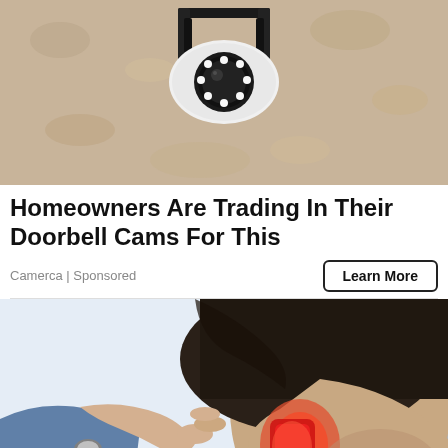[Figure (photo): Security camera mounted on a textured beige wall, showing a white dome camera with LED ring and black mounting bracket]
Homeowners Are Trading In Their Doorbell Cams For This
Camerca | Sponsored
Learn More
[Figure (photo): A man with dark hair and stubble, eyes closed, having a red light therapy device held to his ear by another person's hands]